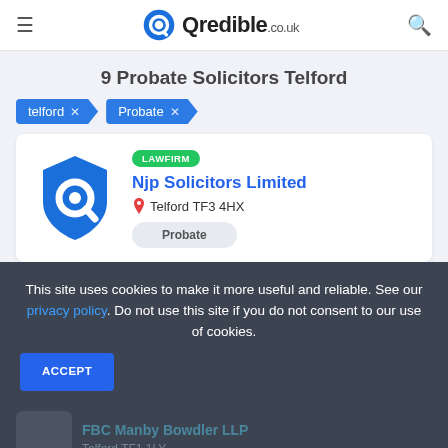Qredible.co.uk
9 Probate Solicitors Telford
telford X
Probate X
LAWFIRM
Njp Solicitors Limited
Telford TF3 4HX
Probate
This site uses cookies to make it more useful and reliable. See our privacy policy. Do not use this site if you do not consent to our use of cookies.
ACCEPT
FBC Manby Bowdler LLP